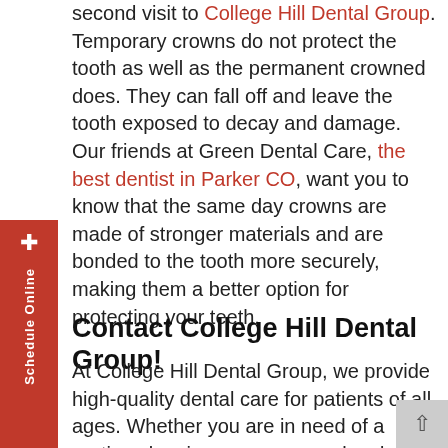second visit to College Hill Dental Group. Temporary crowns do not protect the tooth as well as the permanent crowned does. They can fall off and leave the tooth exposed to decay and damage. Our friends at Green Dental Care, the best dentist in Parker CO, want you to know that the same day crowns are made of stronger materials and are bonded to the tooth more securely, making them a better option for protecting your teeth.
Contact College Hill Dental Group!
At College Hill Dental Group, we provide high-quality dental care for patients of all ages. Whether you are in need of a routine cleaning or more complex dental work, we are here to meet your needs. We understand that everyone has different dental needs, and we strive to provide individualized care for each of our patients. We offer a wide range of services, and we would be happy to discuss your options with you. Contact